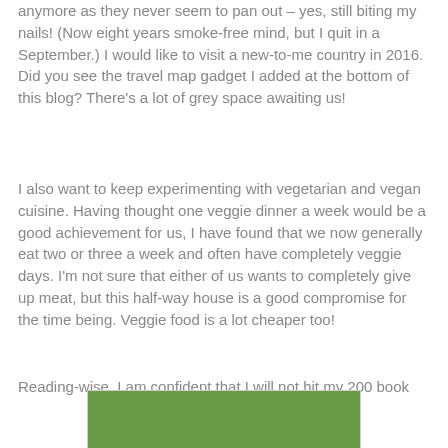anymore as they never seem to pan out – yes, still biting my nails! (Now eight years smoke-free mind, but I quit in a September.) I would like to visit a new-to-me country in 2016. Did you see the travel map gadget I added at the bottom of this blog? There's a lot of grey space awaiting us!
I also want to keep experimenting with vegetarian and vegan cuisine. Having thought one veggie dinner a week would be a good achievement for us, I have found that we now generally eat two or three a week and often have completely veggie days. I'm not sure that either of us wants to completely give up meat, but this half-way house is a good compromise for the time being. Veggie food is a lot cheaper too!
Reading-wise, I am confident that I will not hit my 200 book
[Figure (photo): A badge/image for 'Read Scotland 2016' featuring a Highland cow (shaggy brown fur, large horns) standing on green grass.]